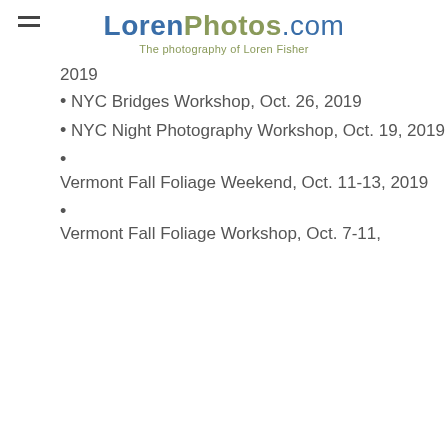LorenPhotos.com — The photography of Loren Fisher
2019
NYC Bridges Workshop, Oct. 26, 2019
NYC Night Photography Workshop, Oct. 19, 2019
Vermont Fall Foliage Weekend, Oct. 11-13, 2019
Vermont Fall Foliage Workshop, Oct. 7-11,